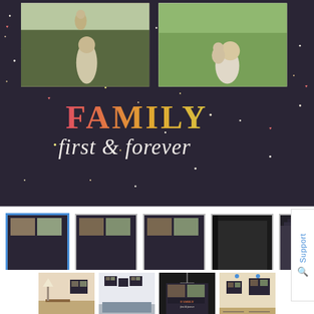[Figure (photo): Product photo of a dark canvas print reading FAMILY first & forever with two family photos on top, displayed on dark background with confetti dots. Below are thumbnail gallery images showing different views of the product including front views, blank canvas back, edge detail, lifestyle room shots, comparison charts, and hanging options.]